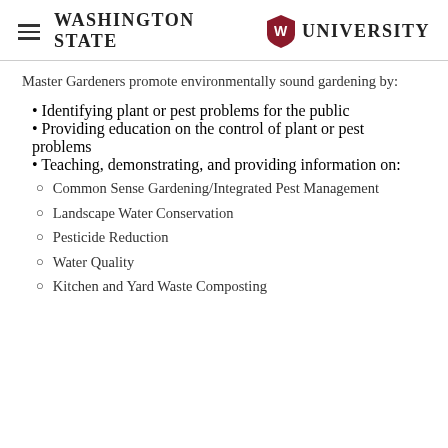Washington State University
Master Gardeners promote environmentally sound gardening by:
Identifying plant or pest problems for the public
Providing education on the control of plant or pest problems
Teaching, demonstrating, and providing information on:
Common Sense Gardening/Integrated Pest Management
Landscape Water Conservation
Pesticide Reduction
Water Quality
Kitchen and Yard Waste Composting